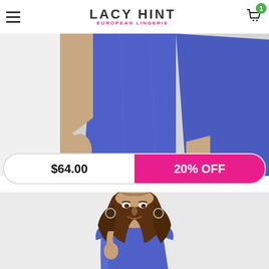LACY HINT EUROPEAN LINGERIE
[Figure (photo): Lower body of a woman wearing a royal blue short dress, cropped mid-torso to mid-thigh, white background]
$64.00
20% OFF
[Figure (photo): Upper body portrait of a brunette woman wearing a royal blue asymmetric top with shoulder detail, smiling]